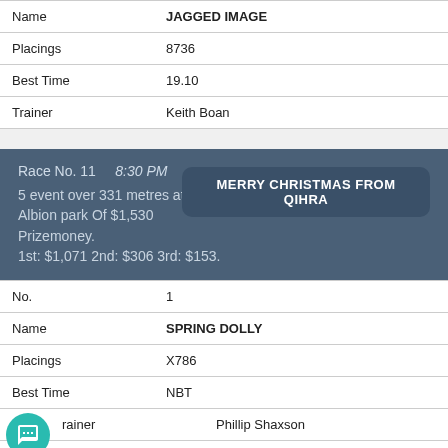| Name | JAGGED IMAGE |
| Placings | 8736 |
| Best Time | 19.10 |
| Trainer | Keith Boan |
Race No. 11   8:30 PM
5 event over 331 metres at Albion park Of $1,530 Prizemoney.
1st: $1,071 2nd: $306 3rd: $153.
MERRY CHRISTMAS FROM QIHRA
| No. | 1 |
| Name | SPRING DOLLY |
| Placings | X786 |
| Best Time | NBT |
| Trainer | Phillip Shaxson |
| No. | 2 |